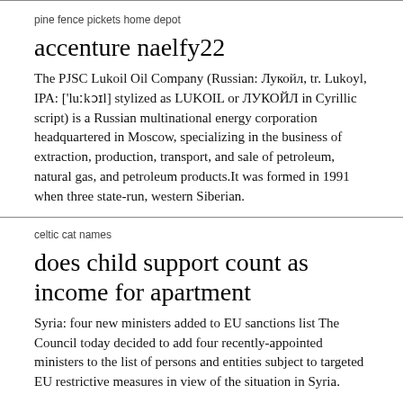pine fence pickets home depot
accenture naelfy22
The PJSC Lukoil Oil Company (Russian: Лукойл, tr. Lukoyl, IPA: ['luːkɔɪl] stylized as LUKOIL or ЛУКОЙЛ in Cyrillic script) is a Russian multinational energy corporation headquartered in Moscow, specializing in the business of extraction, production, transport, and sale of petroleum, natural gas, and petroleum products.It was formed in 1991 when three state-run, western Siberian.
celtic cat names
does child support count as income for apartment
Syria: four new ministers added to EU sanctions list The Council today decided to add four recently-appointed ministers to the list of persons and entities subject to targeted EU restrictive measures in view of the situation in Syria.